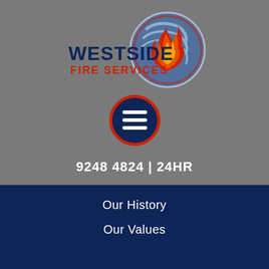[Figure (logo): Westside Fire Services logo with flame and circular graphic, text WESTSIDE in dark blue and FIRE SERVICES in red]
[Figure (other): Hamburger/menu icon — dark navy circle with red ring border and three horizontal lines inside]
9248 4824 | 24HR
Our History
Our Values